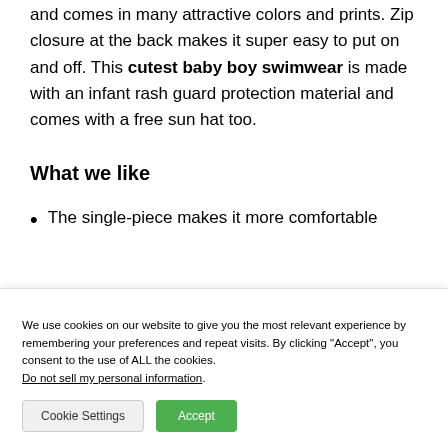and comes in many attractive colors and prints. Zip closure at the back makes it super easy to put on and off. This cutest baby boy swimwear is made with an infant rash guard protection material and comes with a free sun hat too.
What we like
The single-piece makes it more comfortable
We use cookies on our website to give you the most relevant experience by remembering your preferences and repeat visits. By clicking "Accept", you consent to the use of ALL the cookies. Do not sell my personal information.